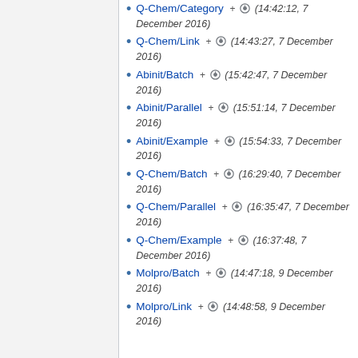Q-Chem/Category + (14:42:12, 7 December 2016)
Q-Chem/Link + (14:43:27, 7 December 2016)
Abinit/Batch + (15:42:47, 7 December 2016)
Abinit/Parallel + (15:51:14, 7 December 2016)
Abinit/Example + (15:54:33, 7 December 2016)
Q-Chem/Batch + (16:29:40, 7 December 2016)
Q-Chem/Parallel + (16:35:47, 7 December 2016)
Q-Chem/Example + (16:37:48, 7 December 2016)
Molpro/Batch + (14:47:18, 9 December 2016)
Molpro/Link + (14:48:58, 9 December 2016)